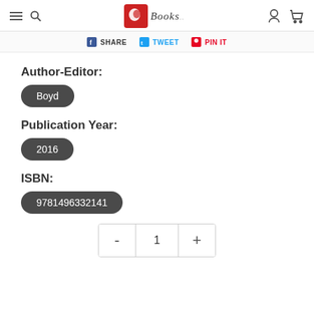Books - website header with navigation icons and logo
SHARE   TWEET   PIN IT
Author-Editor:
Boyd
Publication Year:
2016
ISBN:
9781496332141
- 1 +